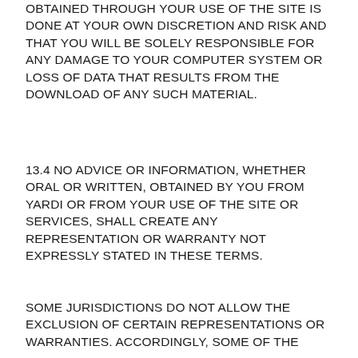OBTAINED THROUGH YOUR USE OF THE SITE IS DONE AT YOUR OWN DISCRETION AND RISK AND THAT YOU WILL BE SOLELY RESPONSIBLE FOR ANY DAMAGE TO YOUR COMPUTER SYSTEM OR LOSS OF DATA THAT RESULTS FROM THE DOWNLOAD OF ANY SUCH MATERIAL.
13.4 NO ADVICE OR INFORMATION, WHETHER ORAL OR WRITTEN, OBTAINED BY YOU FROM YARDI OR FROM YOUR USE OF THE SITE OR SERVICES, SHALL CREATE ANY REPRESENTATION OR WARRANTY NOT EXPRESSLY STATED IN THESE TERMS.
SOME JURISDICTIONS DO NOT ALLOW THE EXCLUSION OF CERTAIN REPRESENTATIONS OR WARRANTIES. ACCORDINGLY, SOME OF THE